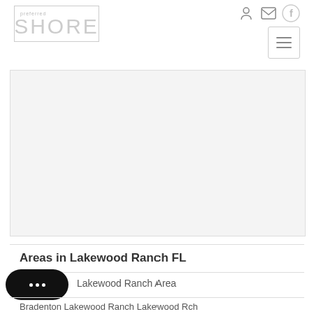preferred SHORE
[Figure (screenshot): Map or image area showing Lakewood Ranch FL, light gray placeholder]
Areas in Lakewood Ranch FL
Lakewood Ranch Area
Bradenton Lakewood Ranch Lakewood Rch